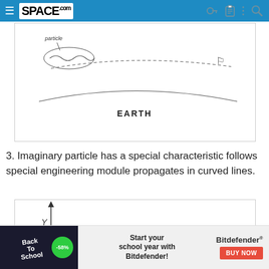SPACE.com
[Figure (illustration): Hand-drawn style diagram showing a curved arc representing Earth's surface, with 'particle' label and wavy lines on the left side, a dashed curved line representing a trajectory across the arc, and a small figure on the right side. The word EARTH appears below the arc.]
3. Imaginary particle has a special characteristic follows special engineering module propagates in curved lines.
[Figure (illustration): Partial diagram showing a Y-axis with an upward arrow, representing the start of a coordinate system graph.]
Back To School — -58% — Start your school year with Bitdefender! — Bitdefender — BUY NOW